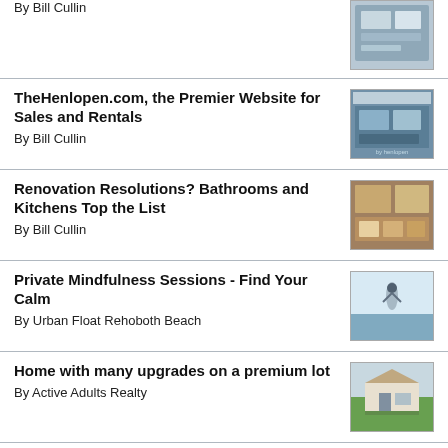By Bill Cullin
TheHenlopen.com, the Premier Website for Sales and Rentals
By Bill Cullin
Renovation Resolutions? Bathrooms and Kitchens Top the List
By Bill Cullin
Private Mindfulness Sessions - Find Your Calm
By Urban Float Rehoboth Beach
Home with many upgrades on a premium lot
By Active Adults Realty
View by category>>
CALENDAR OF EVENTS
Today
(All day)
Autumn at the Beach Kitchen Tour Ticket Sale